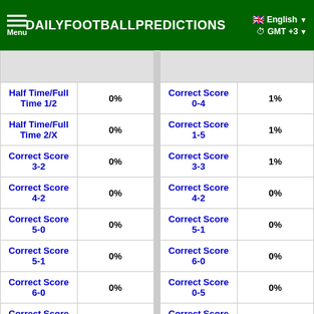DAILYFOOTBALLPREDICTIONS
| Prediction | Value | Prediction | Value |
| --- | --- | --- | --- |
| Half Time/Full Time 1/2 | 0% | Correct Score 0-4 | 1% |
| Half Time/Full Time 2/X | 0% | Correct Score 1-5 | 1% |
| Correct Score 3-2 | 0% | Correct Score 3-3 | 1% |
| Correct Score 4-2 | 0% | Correct Score 4-2 | 0% |
| Correct Score 5-0 | 0% | Correct Score 5-1 | 0% |
| Correct Score 5-1 | 0% | Correct Score 6-0 | 0% |
| Correct Score 6-0 | 0% | Correct Score 0-5 | 0% |
| Correct Score 0-4 | 0% | Correct Score 0-6 | 0% |